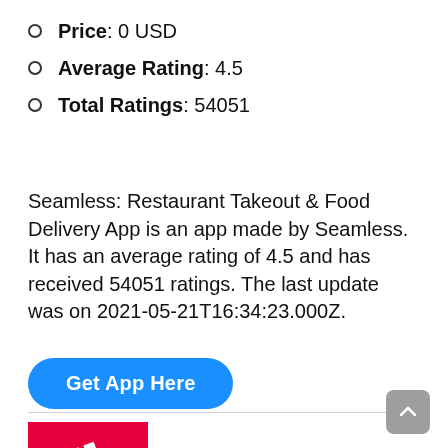Price: 0 USD
Average Rating: 4.5
Total Ratings: 54051
Seamless: Restaurant Takeout & Food Delivery App is an app made by Seamless. It has an average rating of 4.5 and has received 54051 ratings. The last update was on 2021-05-21T16:34:23.000Z.
[Figure (other): Blue rounded button labeled 'Get App Here']
[Figure (logo): Seamless app logo: red square background with white diagonal stripe marks]